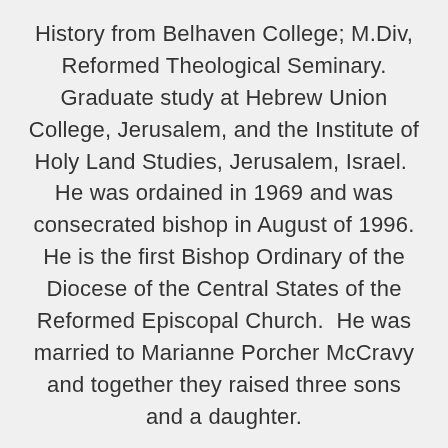History from Belhaven College; M.Div, Reformed Theological Seminary. Graduate study at Hebrew Union College, Jerusalem, and the Institute of Holy Land Studies, Jerusalem, Israel. He was ordained in 1969 and was consecrated bishop in August of 1996. He is the first Bishop Ordinary of the Diocese of the Central States of the Reformed Episcopal Church. He was married to Marianne Porcher McCravy and together they raised three sons and a daughter.